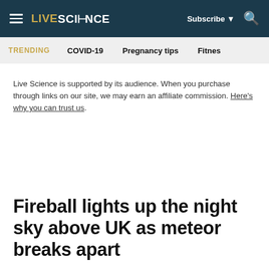LIVE SCIENCE — Subscribe — Search
TRENDING  COVID-19  Pregnancy tips  Fitnes
Live Science is supported by its audience. When you purchase through links on our site, we may earn an affiliate commission. Here's why you can trust us.
Fireball lights up the night sky above UK as meteor breaks apart